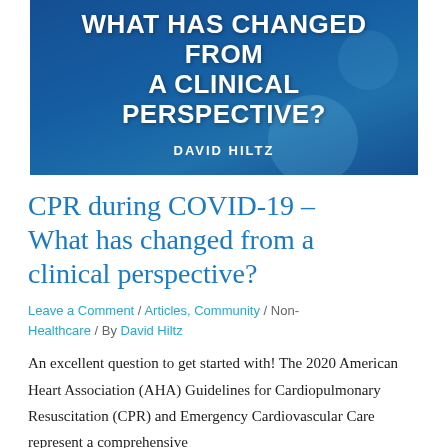[Figure (illustration): Blue banner image with white bold text reading 'WHAT HAS CHANGED FROM A CLINICAL PERSPECTIVE?' and author name 'DAVID HILTZ' at the bottom. Background shows a blurred medical/CPR scene in blue tones.]
CPR during COVID-19 – What has changed from a clinical perspective?
Leave a Comment / Articles, Community / Non-Healthcare / By David Hiltz
An excellent question to get started with! The 2020 American Heart Association (AHA) Guidelines for Cardiopulmonary Resuscitation (CPR) and Emergency Cardiovascular Care represent a comprehensive